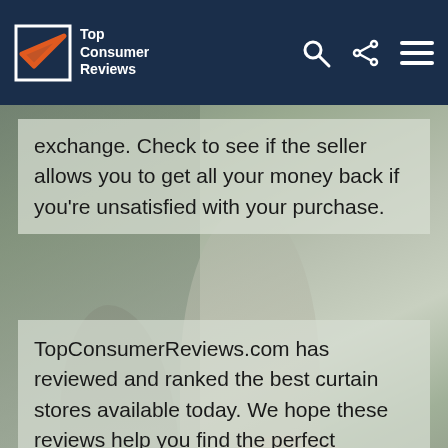Top Consumer Reviews
exchange. Check to see if the seller allows you to get all your money back if you're unsatisfied with your purchase.
TopConsumerReviews.com has reviewed and ranked the best curtain stores available today. We hope these reviews help you find the perfect curtains for your home decor!
[Figure (photo): Background photo of curtains/home decor scene with a person partially visible]
Compare Curtain Stores